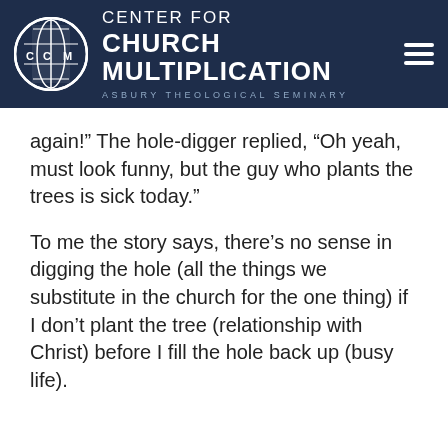CENTER FOR CHURCH MULTIPLICATION ASBURY THEOLOGICAL SEMINARY
again!” The hole-digger replied, “Oh yeah, must look funny, but the guy who plants the trees is sick today.”
To me the story says, there’s no sense in digging the hole (all the things we substitute in the church for the one thing) if I don’t plant the tree (relationship with Christ) before I fill the hole back up (busy life).